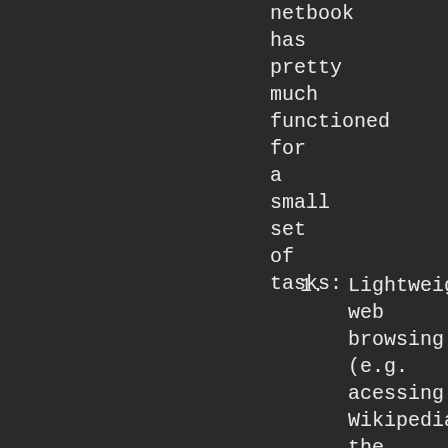netbook has pretty much functioned for a small set of tasks:
1. Lightweight web browsing (e.g. acessing Wikipedia, the IMDB, etc.) when sitting